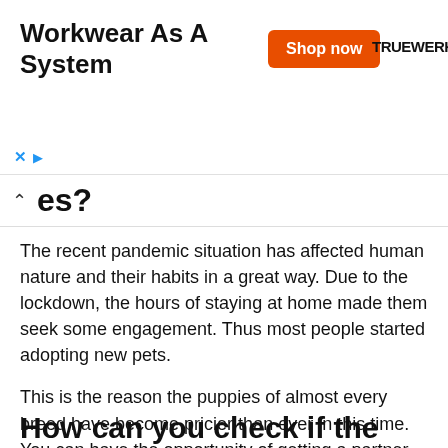[Figure (screenshot): Advertisement banner for TRUEWERK 'Workwear As A System' with orange 'Shop now' button and brand name]
es?
The recent pandemic situation has affected human nature and their habits in a great way. Due to the lockdown, the hours of staying at home made them seek some engagement. Thus most people started adopting new pets.
This is the reason the puppies of almost every breed have become pricier than ever in this time. You can have the opportunity of getting a partner for playing and sharing of emotions so it should not be a bad idea to get one even for a high price.
How can you check if the breeder